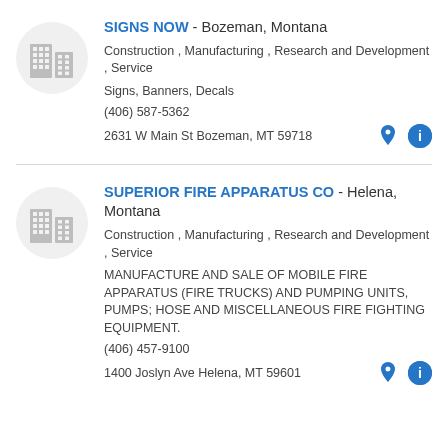[Figure (logo): Gray building/office icon in a light gray circle]
SIGNS NOW - Bozeman, Montana
Construction , Manufacturing , Research and Development , Service
Signs, Banners, Decals
(406) 587-5362
2631 W Main St Bozeman, MT 59718
[Figure (logo): Gray building/office icon in a light gray circle]
SUPERIOR FIRE APPARATUS CO - Helena, Montana
Construction , Manufacturing , Research and Development , Service
MANUFACTURE AND SALE OF MOBILE FIRE APPARATUS (FIRE TRUCKS) AND PUMPING UNITS, PUMPS; HOSE AND MISCELLANEOUS FIRE FIGHTING EQUIPMENT.
(406) 457-9100
1400 Joslyn Ave Helena, MT 59601